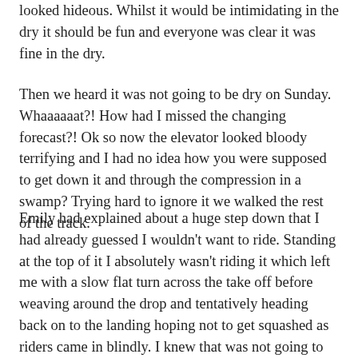looked hideous. Whilst it would be intimidating in the dry it should be fun and everyone was clear it was fine in the dry.
Then we heard it was not going to be dry on Sunday. Whaaaaaat?! How had I missed the changing forecast?! Ok so now the elevator looked bloody terrifying and I had no idea how you were supposed to get down it and through the compression in a swamp? Trying hard to ignore it we walked the rest of the track.
Emily had explained about a huge step down that I had already guessed I wouldn't want to ride. Standing at the top of it I absolutely wasn't riding it which left me with a slow flat turn across the take off before weaving around the drop and tentatively heading back on to the landing hoping not to get squashed as riders came in blindly. I knew that was not going to be the fastest option but